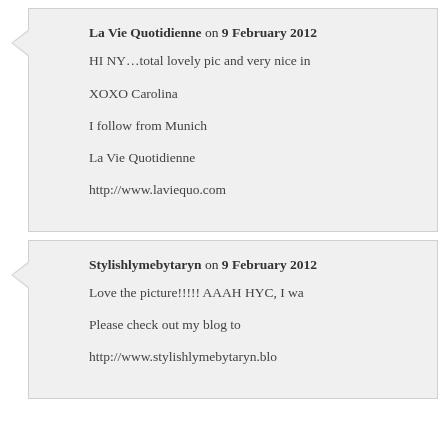La Vie Quotidienne on 9 February 2012
HI NY…total lovely pic and very nice in
XOXO Carolina
I follow from Munich
La Vie Quotidienne
http://www.laviequo.com
Stylishlymebytaryn on 9 February 2012
Love the picture!!!!! AAAH HYC, I wa
Please check out my blog to
http://www.stylishlymebytaryn.blo